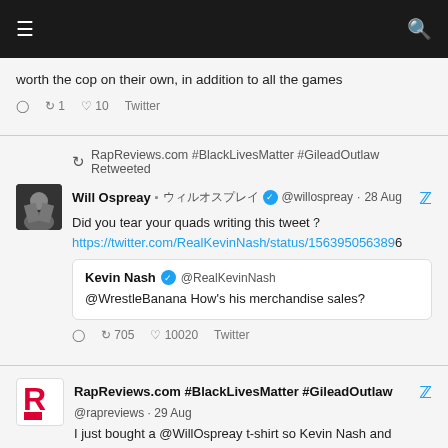Navigation bar with hamburger menu and search icon
worth the cop on their own, in addition to all the games
reply 1 retweet 1 like 10 Twitter
RapReviews.com #BlackLivesMatter #GileadOutlaw Retweeted
Will Ospreay · ウィルオスプレイ @willospreay · 28 Aug
Did you tear your quads writing this tweet?
https://twitter.com/RealKevinNash/status/1563950563898...
Kevin Nash @RealKevinNash
@WrestleBanana How's his merchandise sales?
reply retweet 705 like 10020 Twitter
RapReviews.com #BlackLivesMatter #GileadOutlaw
@rapreviews · 29 Aug
I just bought a @WillOspreay t-shirt so Kevin Nash and